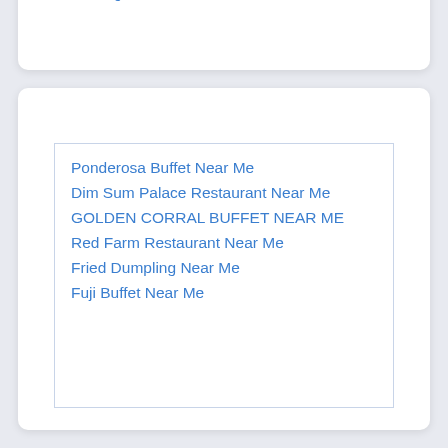Your Dieting Plans
Ponderosa Buffet Near Me
Dim Sum Palace Restaurant Near Me
GOLDEN CORRAL BUFFET NEAR ME
Red Farm Restaurant Near Me
Fried Dumpling Near Me
Fuji Buffet Near Me